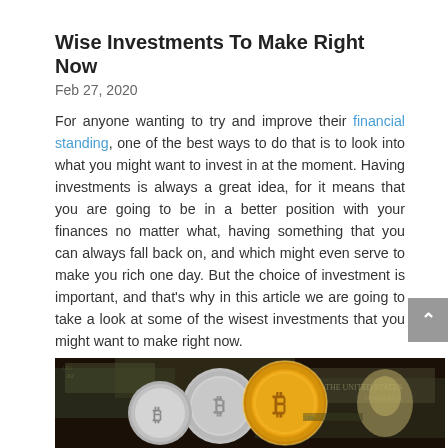Wise Investments To Make Right Now
Feb 27, 2020
For anyone wanting to try and improve their financial standing, one of the best ways to do that is to look into what you might want to invest in at the moment. Having investments is always a great idea, for it means that you are going to be in a better position with your finances no matter what, having something that you can always fall back on, and which might even serve to make you rich one day. But the choice of investment is important, and that’s why in this article we are going to take a look at some of the wisest investments that you might want to make right now.
[Figure (photo): Close-up photo of Bitcoin coins (gold and silver) surrounded by US dollar bills]